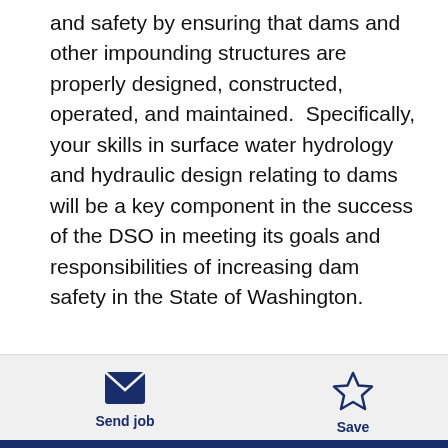and safety by ensuring that dams and other impounding structures are properly designed, constructed, operated, and maintained.  Specifically, your skills in surface water hydrology and hydraulic design relating to dams will be a key component in the success of the DSO in meeting its goals and responsibilities of increasing dam safety in the State of Washington.
[Figure (other): Envelope icon for Send job button]
Send job
[Figure (other): Star icon for Save button]
Save